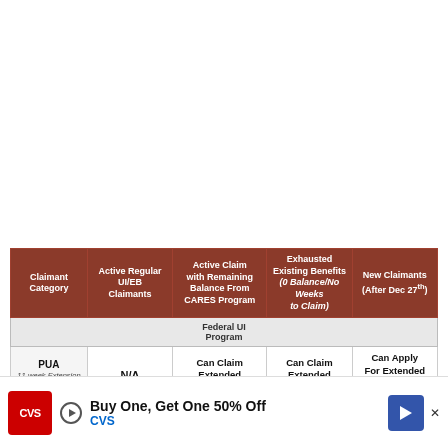| Claimant Category | Active Regular UI/EB Claimants | Active Claim with Remaining Balance From CARES Program | Exhausted Existing Benefits (0 Balance/No Weeks to Claim) | New Claimants (After Dec 27th) |
| --- | --- | --- | --- | --- |
| Federal UI Program |  |  |  |  |
| PUA
11-week Extension
(from w/e Jan 2nd) | N/A | Can Claim Extended Weeks Now | Can Claim Extended Weeks Now | Can Apply For Extended Weeks Now
(new documentation) |
| PEB
11-week...
(from w/...) | Can Apply... | Can Claim... | Can Claim... | Must File
...Claim |